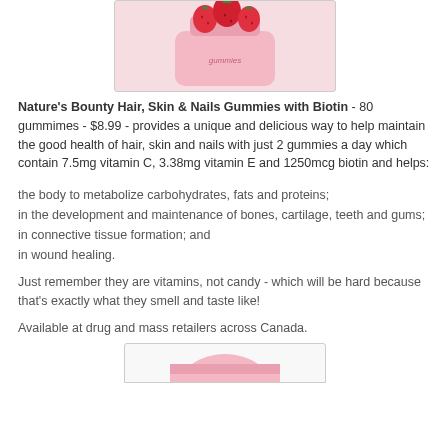[Figure (photo): Product photo of Nature's Bounty Hair, Skin & Nails Gummies with Biotin bottle with strawberries on top, pink background]
Nature's Bounty Hair, Skin & Nails Gummies with Biotin - 80 gummimes - $8.99 - provides a unique and delicious way to help maintain the good health of hair, skin and nails with just 2 gummies a day which contain 7.5mg vitamin C, 3.38mg vitamin E and 1250mcg biotin and helps:
the body to metabolize carbohydrates, fats and proteins;
in the development and maintenance of bones, cartilage, teeth and gums;
in connective tissue formation; and
in wound healing.
Just remember they are vitamins, not candy - which will be hard because that's exactly what they smell and taste like!
Available at drug and mass retailers across Canada.
[Figure (photo): Bottom portion of product photo showing another Nature's Bounty gummies bottle]